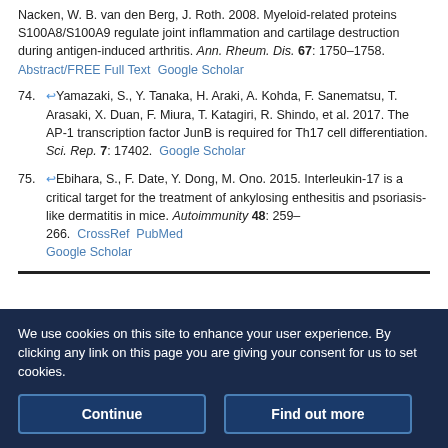Nacken, W. B. van den Berg, J. Roth. 2008. Myeloid-related proteins S100A8/S100A9 regulate joint inflammation and cartilage destruction during antigen-induced arthritis. Ann. Rheum. Dis. 67: 1750–1758. Abstract/FREE Full Text  Google Scholar
74. ↩Yamazaki, S., Y. Tanaka, H. Araki, A. Kohda, F. Sanematsu, T. Arasaki, X. Duan, F. Miura, T. Katagiri, R. Shindo, et al. 2017. The AP-1 transcription factor JunB is required for Th17 cell differentiation. Sci. Rep. 7: 17402. Google Scholar
75. ↩Ebihara, S., F. Date, Y. Dong, M. Ono. 2015. Interleukin-17 is a critical target for the treatment of ankylosing enthesitis and psoriasis-like dermatitis in mice. Autoimmunity 48: 259–266. CrossRef  PubMed  Google Scholar
We use cookies on this site to enhance your user experience. By clicking any link on this page you are giving your consent for us to set cookies.